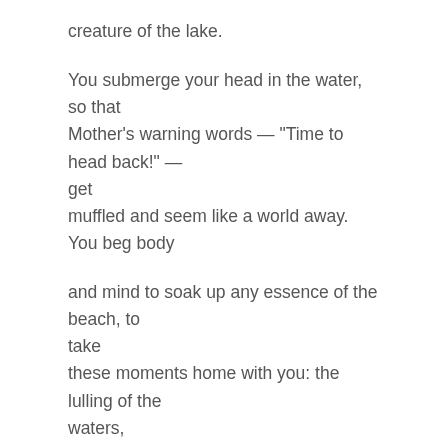creature of the lake.
You submerge your head in the water, so that Mother's warning words — "Time to head back!" — get muffled and seem like a world away. You beg body
and mind to soak up any essence of the beach, to take these moments home with you: the lulling of the waters, the sun's warm breath on your skin, the gleeful calls of friends that join the current's pull to go further, deeper, until you can't see or feel the ground beneath you.